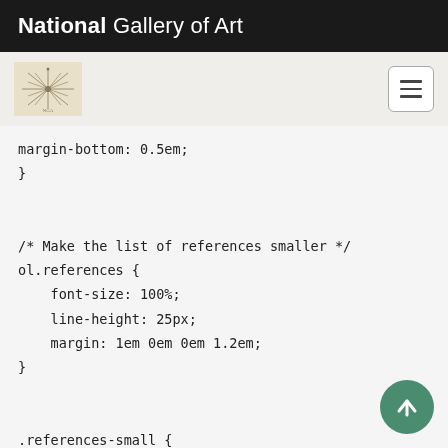National Gallery of Art
[Figure (logo): Navigation bar with art institute logo icon and hamburger menu button]
margin-bottom: 0.5em;
}


/* Make the list of references smaller */
ol.references {
    font-size: 100%;
    line-height: 25px;
    margin: 1em 0em 0em 1.2em;
}


.references-small {
    font-size: 90%;
}


/* VALIDATOR NOTICE: the following is